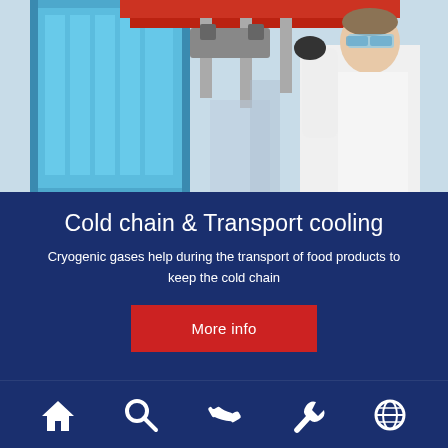[Figure (photo): Industrial worker in white lab coat and safety goggles operating heavy blue machinery/freezer equipment in a factory setting]
Cold chain & Transport cooling
Cryogenic gases help during the transport of food products to keep the cold chain
More info
[Figure (infographic): Navigation bar with five white icons: home, search/magnifying glass, phone, wrench/settings, globe]